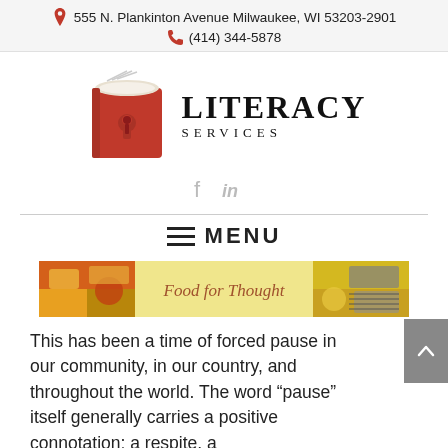555 N. Plankinton Avenue Milwaukee, WI 53203-2901
(414) 344-5878
[Figure (logo): Literacy Services logo: red book with keyhole icon and text LITERACY SERVICES]
[Figure (infographic): Social media icons: f (Facebook) and in (LinkedIn) in gray]
MENU
[Figure (photo): Food for Thought banner image with food photos on left and right, center yellow background with italic text 'Food for Thought']
This has been a time of forced pause in our community, in our country, and throughout the world. The word “pause” itself generally carries a positive connotation; a respite, a moment. But to be at the other extreme “forced”